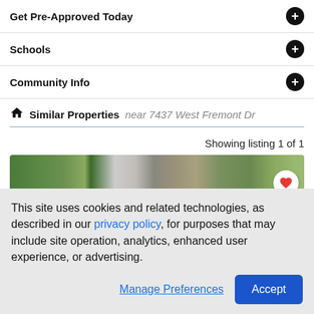Get Pre-Approved Today
Schools
Community Info
Similar Properties near 7437 West Fremont Dr
Showing listing 1 of 1
[Figure (photo): Aerial/satellite view of property listing with a heart/favorite button in the bottom right corner. Shows green park area labeled Cornerstone Park on the left and street view with buildings on the right.]
This site uses cookies and related technologies, as described in our privacy policy, for purposes that may include site operation, analytics, enhanced user experience, or advertising.
Manage Preferences  Accept